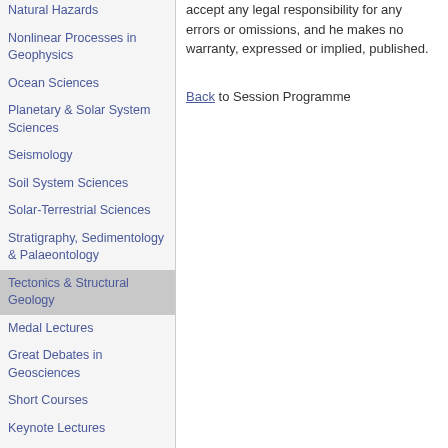Natural Hazards
Nonlinear Processes in Geophysics
Ocean Sciences
Planetary & Solar System Sciences
Seismology
Soil System Sciences
Solar-Terrestrial Sciences
Stratigraphy, Sedimentology & Palaeontology
Tectonics & Structural Geology
Medal Lectures
Great Debates in Geosciences
Short Courses
Keynote Lectures
Townhall Meetings
Division Business Meetings
Editorial Board Meetings
Union Meetings
accept any legal responsibility for any errors or omissions, and he makes no warranty, expressed or implied, published.
Back to Session Programme